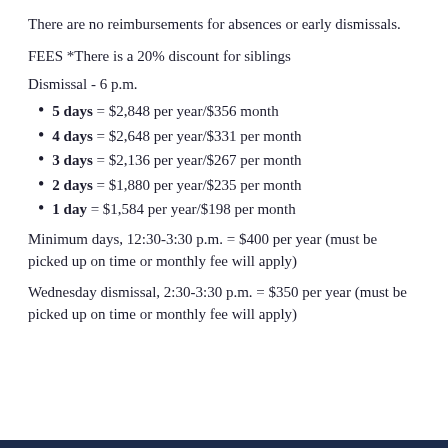There are no reimbursements for absences or early dismissals.
FEES *There is a 20% discount for siblings
Dismissal - 6 p.m.
5 days = $2,848 per year/$356 month
4 days = $2,648 per year/$331 per month
3 days = $2,136 per year/$267 per month
2 days = $1,880 per year/$235 per month
1 day = $1,584 per year/$198 per month
Minimum days, 12:30-3:30 p.m. = $400 per year (must be picked up on time or monthly fee will apply)
Wednesday dismissal, 2:30-3:30 p.m. = $350 per year (must be picked up on time or monthly fee will apply)